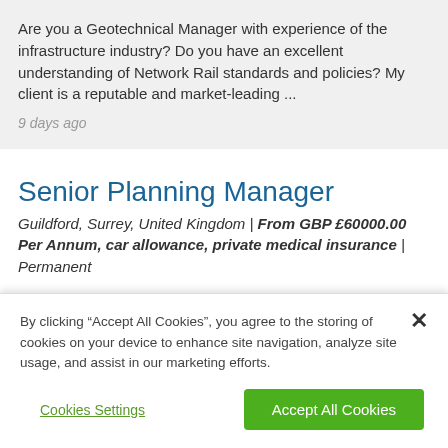Are you a Geotechnical Manager with experience of the infrastructure industry? Do you have an excellent understanding of Network Rail standards and policies? My client is a reputable and market-leading ...
9 days ago
Senior Planning Manager
Guildford, Surrey, United Kingdom | From GBP £60000.00 Per Annum, car allowance, private medical insurance | Permanent
Senior Planning Manager Full Time, Permanent Petersfield based Salary: C£60,000 + package We are seeking an
By clicking “Accept All Cookies”, you agree to the storing of cookies on your device to enhance site navigation, analyze site usage, and assist in our marketing efforts.
Cookies Settings
Accept All Cookies